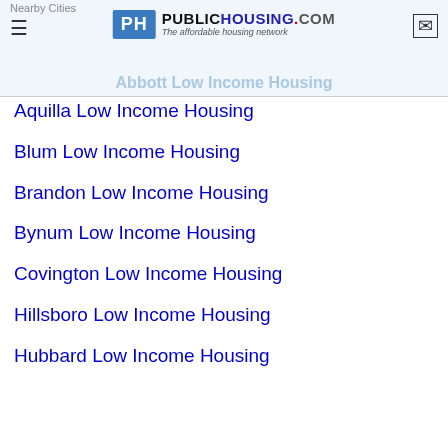Nearby Cities | PublicHousing.com - The affordable housing network | Abbott Low Income Housing
Aquilla Low Income Housing
Blum Low Income Housing
Brandon Low Income Housing
Bynum Low Income Housing
Covington Low Income Housing
Hillsboro Low Income Housing
Hubbard Low Income Housing